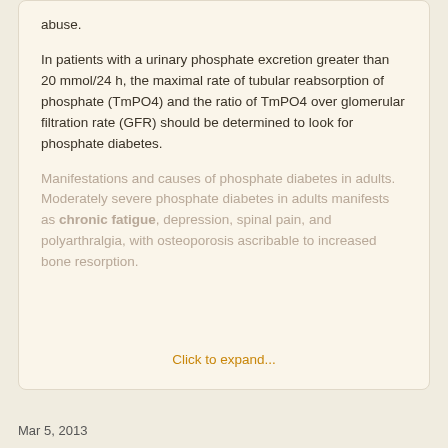abuse.
In patients with a urinary phosphate excretion greater than 20 mmol/24 h, the maximal rate of tubular reabsorption of phosphate (TmPO4) and the ratio of TmPO4 over glomerular filtration rate (GFR) should be determined to look for phosphate diabetes.
Manifestations and causes of phosphate diabetes in adults. Moderately severe phosphate diabetes in adults manifests as chronic fatigue, depression, spinal pain, and polyarthralgia, with osteoporosis ascribable to increased bone resorption.
Click to expand...
Mar 5, 2013